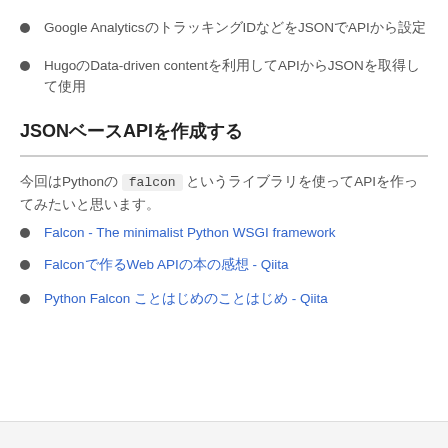Google AnalyticsのトラッキングIDなどをJSONでAPIから設定
HugoのData-driven contentを利用してAPIからJSONを取得して使用
JSONベースAPIを作成する
今回はPythonの falcon というライブラリを使ってAPIを作ってみたいと思います。
Falcon - The minimalist Python WSGI framework
Falconで作るWeb APIの本の感想 - Qiita
Python Falcon ことはじめのことはじめ - Qiita